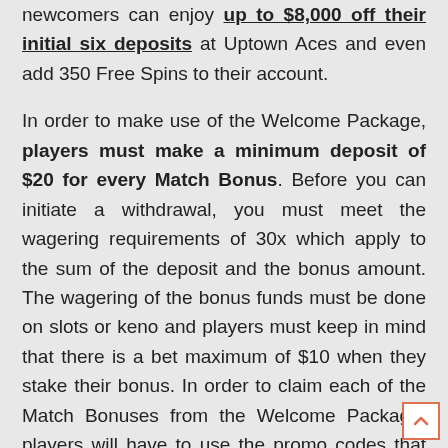newcomers can enjoy up to $8,000 off their initial six deposits at Uptown Aces and even add 350 Free Spins to their account.
In order to make use of the Welcome Package, players must make a minimum deposit of $20 for every Match Bonus. Before you can initiate a withdrawal, you must meet the wagering requirements of 30x which apply to the sum of the deposit and the bonus amount. The wagering of the bonus funds must be done on slots or keno and players must keep in mind that there is a bet maximum of $10 when they stake their bonus. In order to claim each of the Match Bonuses from the Welcome Package, players will have to use the promo codes that correspond to each bonus.
When you make your first deposit at Uptown Aces and y…